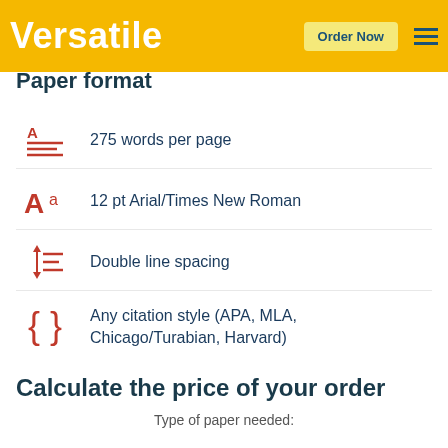Versatile | Order Now
Paper format
275 words per page
12 pt Arial/Times New Roman
Double line spacing
Any citation style (APA, MLA, Chicago/Turabian, Harvard)
Calculate the price of your order
Type of paper needed: